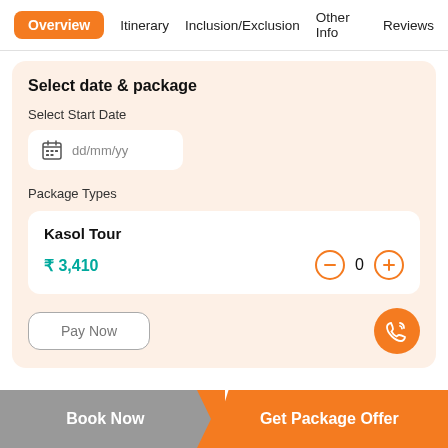Overview  Itinerary  Inclusion/Exclusion  Other Info  Reviews
Select date & package
Select Start Date
dd/mm/yy
Package Types
Kasol Tour
₹ 3,410
0
Pay Now
Book Now
Get Package Offer